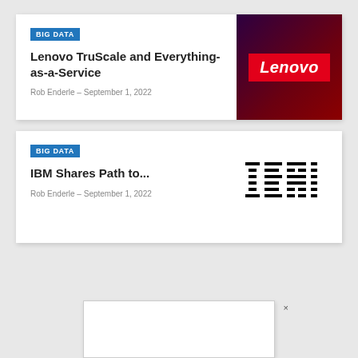BIG DATA
Lenovo TruScale and Everything-as-a-Service
Rob Enderle  -  September 1, 2022
[Figure (logo): Lenovo logo on dark red/purple gradient background]
BIG DATA
IBM Shares Path to...
Rob Enderle  -  September 1, 2022
[Figure (logo): IBM logo in black horizontal stripes on white background]